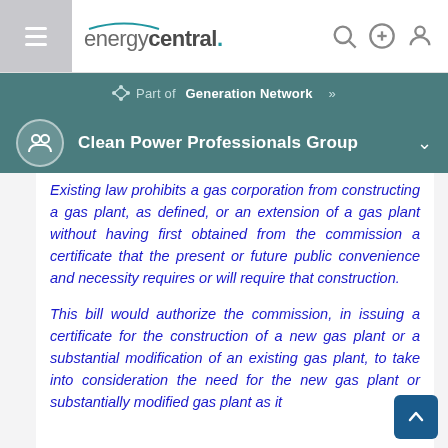energycentral. [navigation icons]
Part of Generation Network »
Clean Power Professionals Group
Existing law prohibits a gas corporation from constructing a gas plant, as defined, or an extension of a gas plant without having first obtained from the commission a certificate that the present or future public convenience and necessity requires or will require that construction.
This bill would authorize the commission, in issuing a certificate for the construction of a new gas plant or a substantial modification of an existing gas plant, to take into consideration the need for the new gas plant or substantially modified gas plant as it